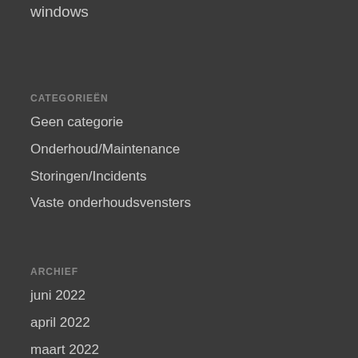windows
CATEGORIEËN
Geen categorie
Onderhoud/Maintenance
Storingen/Incidents
Vaste onderhoudsvensters
ARCHIEF
juni 2022
april 2022
maart 2022